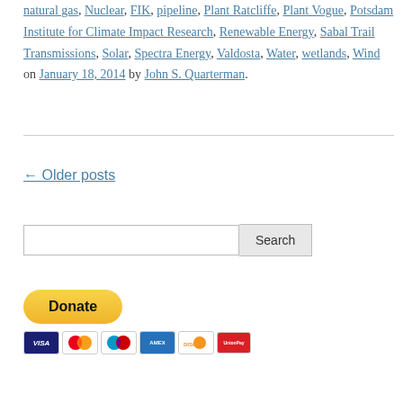natural gas, Nuclear, FIK, pipeline, Plant Ratcliffe, Plant Vogue, Potsdam Institute for Climate Impact Research, Renewable Energy, Sabal Trail Transmissions, Solar, Spectra Energy, Valdosta, Water, wetlands, Wind on January 18, 2014 by John S. Quarterman.
← Older posts
Search
[Figure (other): PayPal Donate button with payment card icons (VISA, Mastercard, Maestro, American Express, Discover, UnionPay)]